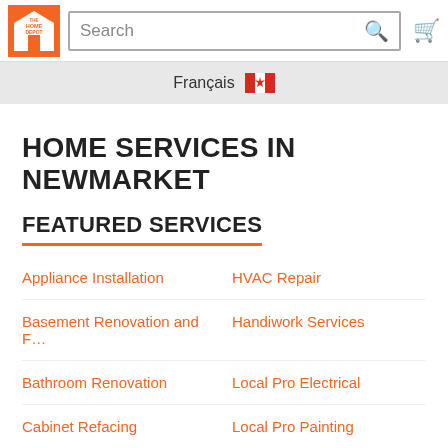[Figure (logo): The Home Depot logo - orange square with white house icon and text]
Search
Français 🍁
HOME SERVICES IN NEWMARKET
FEATURED SERVICES
Appliance Installation
HVAC Repair
Basement Renovation and F…
Handiwork Services
Bathroom Renovation
Local Pro Electrical
Cabinet Refacing
Local Pro Painting